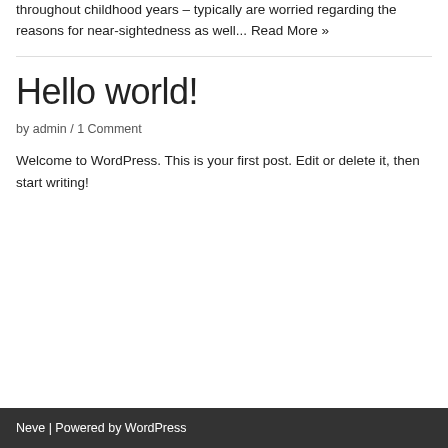specifically those that are myopic and also put on glasses throughout childhood years – typically are worried regarding the reasons for near-sightedness as well... Read More »
Hello world!
by admin / 1 Comment
Welcome to WordPress. This is your first post. Edit or delete it, then start writing!
Neve | Powered by WordPress